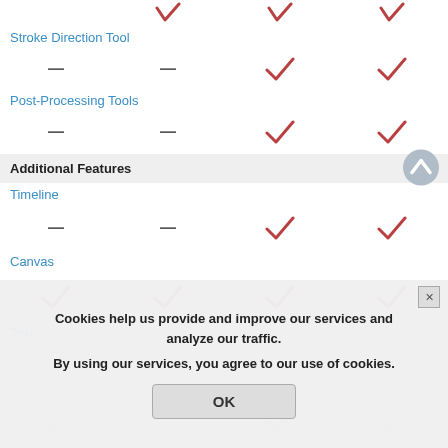| Feature | Plan1 | Plan2 | Plan3 | Plan4 |
| --- | --- | --- | --- | --- |
| Stroke Direction Tool | ✓(red) | ✓(red) | ✓(red) | ✓(red) |
|  | — | — | ✓ | ✓ |
| Post-Processing Tools |  |  |  |  |
|  | — | — | ✓ | ✓ |
| Timeline |  |  |  |  |
|  | — | — | ✓ | ✓ |
| Canvas |  |  |  |  |
|  | ✓ | ✓ | ✓ | ✓ |
| Text |  |  |  |  |
| Frames (faded) |  |  |  |  |
| Batch Processing (faded) |  |  |  |  |
| (faded checks) | ✓ |  | ✓ | ✓ |
Additional Features
Cookies help us provide and improve our services and analyze our traffic.
By using our services, you agree to our use of cookies.